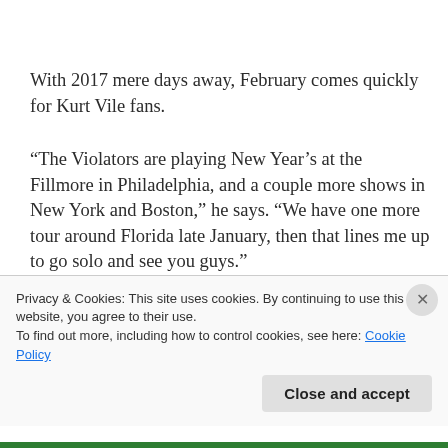With 2017 mere days away, February comes quickly for Kurt Vile fans.
“The Violators are playing New Year’s at the Fillmore in Philadelphia, and a couple more shows in New York and Boston,” he says. “We have one more tour around Florida late January, then that lines me up to go solo and see you guys.”
Privacy & Cookies: This site uses cookies. By continuing to use this website, you agree to their use.
To find out more, including how to control cookies, see here: Cookie Policy